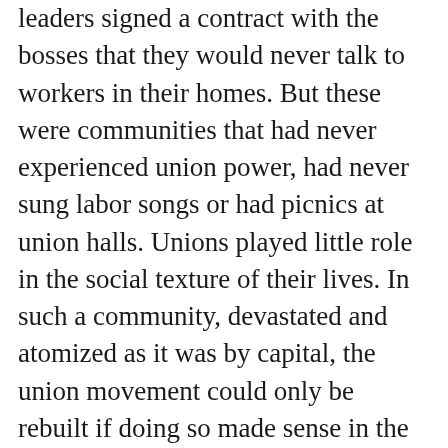leaders signed a contract with the bosses that they would never talk to workers in their homes. But these were communities that had never experienced union power, had never sung labor songs or had picnics at union halls. Unions played little role in the social texture of their lives. In such a community, devastated and atomized as it was by capital, the union movement could only be rebuilt if doing so made sense in the total aspect of their lives and not just in a sectoral way at work alone.
Contrast this tactic to the one used by the Chicago teacher's union to rebuild their union. They did what the UAW did not, which is connect the struggles in the workplace with the needs of a wider community. For years they brought their union banner to one grieving neighborhood after another when they were about to lose a